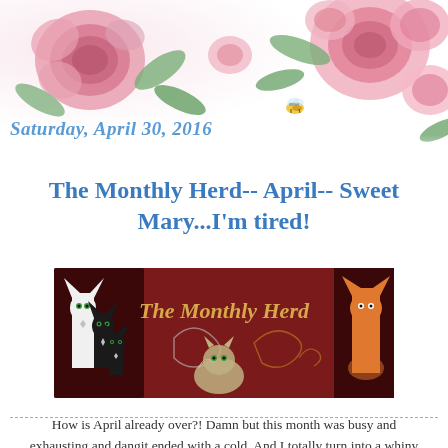[Figure (illustration): Floral watercolor banner with pink roses, green leaves, and a small bee, decorating the top of the page.]
Saturday, April 30, 2016
The Monthly Herd-- April-- Sweet Mary...I'm tired!
[Figure (illustration): Dark red/maroon banner image reading 'The Monthly Herd' with stylized cartoon cats in black, white, and orange on the left and right sides.]
How is April already over?! Damn but this month was busy and exhausting and dangit ended with a cold. And I totally turn into a whiny mess when sick. lol  So what happened...